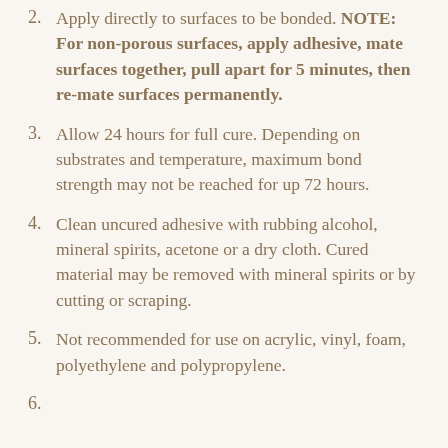2. Apply directly to surfaces to be bonded. NOTE: For non-porous surfaces, apply adhesive, mate surfaces together, pull apart for 5 minutes, then re-mate surfaces permanently.
3. Allow 24 hours for full cure. Depending on substrates and temperature, maximum bond strength may not be reached for up 72 hours.
4. Clean uncured adhesive with rubbing alcohol, mineral spirits, acetone or a dry cloth. Cured material may be removed with mineral spirits or by cutting or scraping.
5. Not recommended for use on acrylic, vinyl, foam, polyethylene and polypropylene.
6. (partially visible)